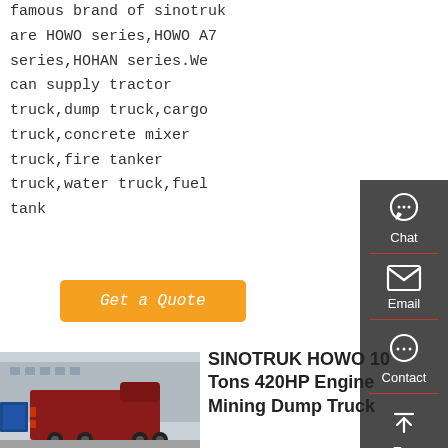famous brand of sinotruk are HOWO series,HOWO A7 series,HOHAN series.We can supply tractor truck,dump truck,cargo truck,concrete mixer truck,fire tanker truck,water truck,fuel tank
[Figure (other): Orange 'Get a Quote' button]
[Figure (screenshot): Sidebar with Chat, Email, Contact, Top navigation icons on dark grey background]
[Figure (photo): Red Sinotruk HOWO truck photographed from rear-side at a factory/depot]
SINOTRUK HOWO 10 Tons 420HP Engine Mining Dump Truck